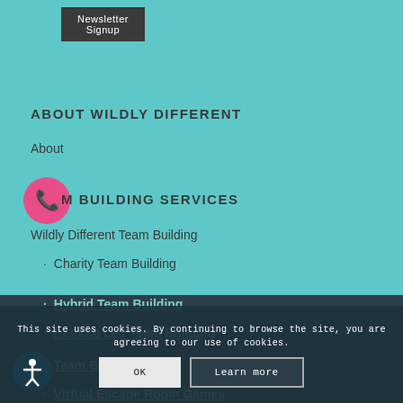Newsletter Signup
ABOUT WILDLY DIFFERENT
About
TEAM BUILDING SERVICES
Wildly Different Team Building
Charity Team Building
Hybrid Team Building
Remote Led Team Building
Team Building...
Virtual Escape Room Games
This site uses cookies. By continuing to browse the site, you are agreeing to our use of cookies.